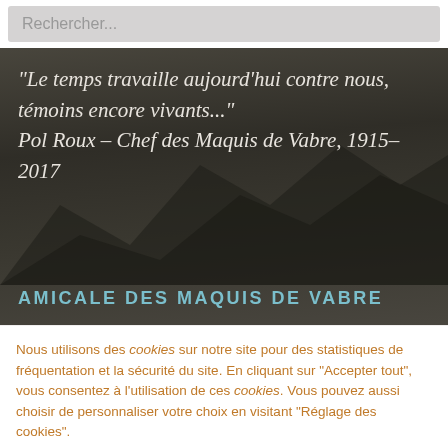Rechercher...
[Figure (photo): Dark mountainous landscape background with text overlay]
"Le temps travaille aujourd'hui contre nous, témoins encore vivants..." Pol Roux – Chef des Maquis de Vabre, 1915–2017
AMICALE DES MAQUIS DE VABRE
Nous utilisons des cookies sur notre site pour des statistiques de fréquentation et la sécurité du site. En cliquant sur "Accepter tout", vous consentez à l'utilisation de ces cookies. Vous pouvez aussi choisir de personnaliser votre choix en visitant "Réglage des cookies".
Réglage des cookies
Rejeter
Accepter tout